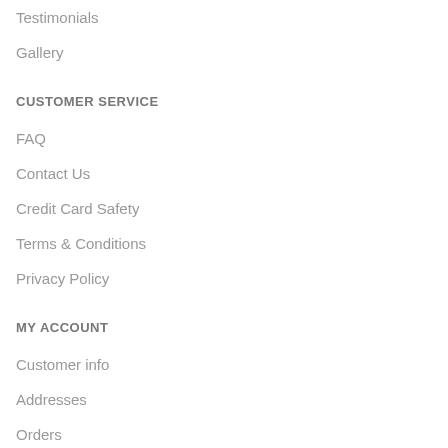Testimonials
Gallery
CUSTOMER SERVICE
FAQ
Contact Us
Credit Card Safety
Terms & Conditions
Privacy Policy
MY ACCOUNT
Customer info
Addresses
Orders